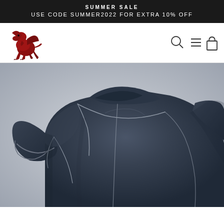SUMMER SALE
USE CODE SUMMER2022 FOR EXTRA 10% OFF
[Figure (logo): Red griffin/dragon logo on white background with navigation icons (search, menu, bag)]
[Figure (photo): Dark navy compression short-sleeve sports shirt with grey seam lines, shown on a headless mannequin torso at an angle]